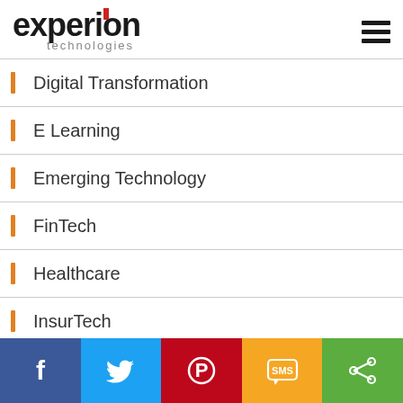[Figure (logo): Experion Technologies logo with red flag accent above the 'i', and 'technologies' in gray below]
Digital Transformation
E Learning
Emerging Technology
FinTech
Healthcare
InsurTech
Life@Experion
Product Development
[Figure (infographic): Social share bar with Facebook, Twitter, Pinterest, SMS, and Share buttons]